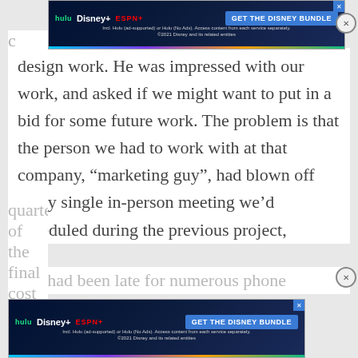[Figure (screenshot): Disney Bundle advertisement banner (top) with Hulu, Disney+, ESPN+ logos and 'GET THE DISNEY BUNDLE' call-to-action button on dark blue background]
design work. He was impressed with our work, and asked if we might want to put in a bid for some future work. The problem is that the person we had to work with at that company, “marketing guy”, had blown off every single in-person meeting we’d scheduled during the previous project,
and had been late for numerous phone ca... quarter of the final cost to the client
[Figure (screenshot): Disney Bundle advertisement banner (bottom) with Hulu, Disney+, ESPN+ logos and 'GET THE DISNEY BUNDLE' call-to-action button on dark blue background]